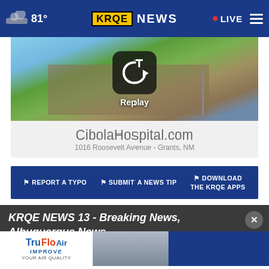81° KRQE NEWS • LIVE
[Figure (screenshot): Video replay screen showing a building (Cibola Hospital) with a replay button overlay icon in the center]
CibolaHospital.com
1016 Roosevelt Avenue - Grants, NM
⚑ REPORT A TYPO   ⚑ SUBMIT A NEWS TIP   ⚑ DOWNLOAD THE KRQE APPS
KRQE NEWS 13 - Breaking News, Albuquerque News
[Figure (screenshot): Bottom advertisement area showing TruFlo Air 'Improve Your Air Quality' ad and a person in a news segment thumbnail]